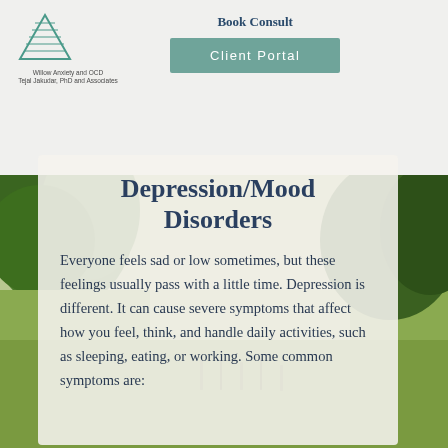[Figure (logo): Willow Anxiety and OCD logo — green triangle outline with horizontal lines, text below reading 'Willow Anxiety and OCD Tejal Jakudar, PhD and Associates']
Book Consult
Client Portal
[Figure (photo): Nature photograph showing green trees and lush garden foliage in the top right, and a pastoral meadow/garden scene in the lower background]
Depression/Mood Disorders
Everyone feels sad or low sometimes, but these feelings usually pass with a little time. Depression is different. It can cause severe symptoms that affect how you feel, think, and handle daily activities, such as sleeping, eating, or working. Some common symptoms are: